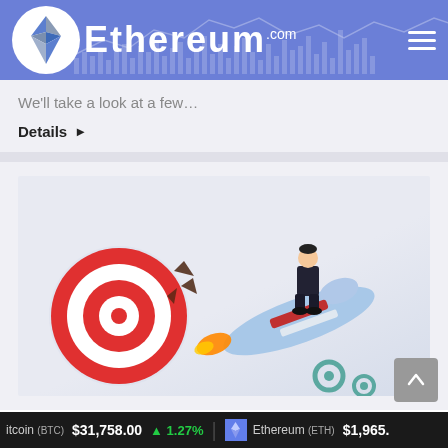[Figure (logo): Ethereum.com logo with Ethereum diamond gem icon in white circle, white wordmark text on blue/purple header background with faint chart graphics in background]
We'll take a look at a few…
Details ▶
[Figure (illustration): Illustration of a businessman in suit sitting on a rocket/missile that is hitting a target bullseye, symbolizing hitting financial targets. Red and white target on left, blue rocket with orange flame, teal gear pieces in background.]
itcoin (BTC)  $31,758.00  ↑ 1.27%  |  Ethereum (ETH)  $1,965.